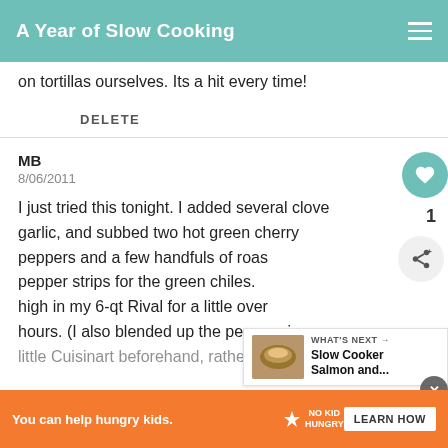A Year of Slow Cooking
on tortillas ourselves. Its a hit every time!
DELETE
MB
8/06/2011
I just tried this tonight. I added several cloves of garlic, and subbed two hot green cherry peppers and a few handfuls of roasted red pepper strips for the green chiles. Cooked on high in my 6-qt Rival for a little over three hours. (I also blended up the peppers in my little Cuisinart beforehand, rather than using an imse... l's too
[Figure (other): What's Next panel showing Slow Cooker Salmon and... with a food photo thumbnail]
You can help hungry kids. NO KID HUNGRY LEARN HOW